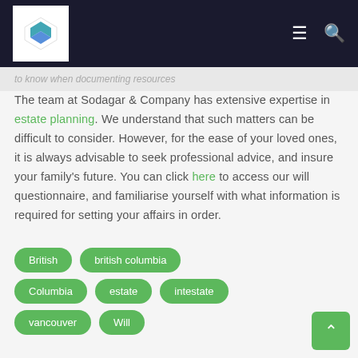Sodagar & Company logo and navigation
to know when documenting resources
The team at Sodagar & Company has extensive expertise in estate planning. We understand that such matters can be difficult to consider. However, for the ease of your loved ones, it is always advisable to seek professional advice, and insure your family's future. You can click here to access our will questionnaire, and familiarise yourself with what information is required for setting your affairs in order.
British
british columbia
Columbia
estate
intestate
vancouver
Will